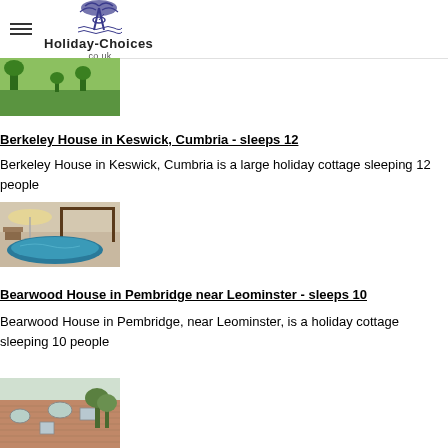Holiday-Choices .co.uk
[Figure (photo): Partial top image of a green field or garden scene, partially cropped]
Berkeley House in Keswick, Cumbria - sleeps 12
Berkeley House in Keswick, Cumbria is a large holiday cottage sleeping 12 people
[Figure (photo): Outdoor hot tub/pool area with pergola and patio furniture]
Bearwood House in Pembridge near Leominster - sleeps 10
Bearwood House in Pembridge, near Leominster, is a holiday cottage sleeping 10 people
[Figure (photo): Exterior of a large brick building with oval window features and trees]